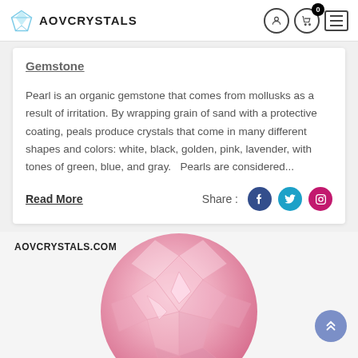AOVCRYSTALS
Gemstone
Pearl is an organic gemstone that comes from mollusks as a result of irritation. By wrapping grain of sand with a protective coating, peals produce crystals that come in many different shapes and colors: white, black, golden, pink, lavender, with tones of green, blue, and gray.   Pearls are considered...
Read More
Share :
AOVCRYSTALS.COM
[Figure (photo): Close-up of a faceted pink gemstone/crystal with sparkle facets visible]